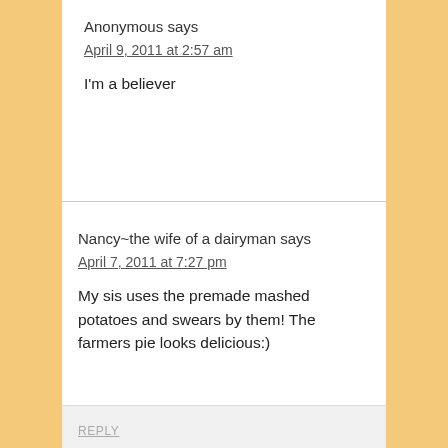Anonymous says
April 9, 2011 at 2:57 am
I'm a believer
Nancy~the wife of a dairyman says
April 7, 2011 at 7:27 pm
My sis uses the premade mashed potatoes and swears by them! The farmers pie looks delicious:)
REPLY